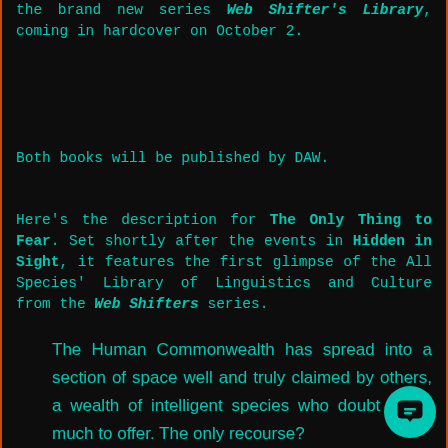the brand new series Web Shifter's Library, coming in hardcover on October 2.
Both books will be published by DAW.
Here's the description for The Only Thing to Fear. Set shortly after the events in Hidden in Sight, it features the first glimpse of the All Species' Library of Linguistics and Culture from the Web Shifters series.
The Human Commonwealth has spread into a section of space well and truly claimed by others, a wealth of intelligent species who doubt we've much to offer. The only recourse?